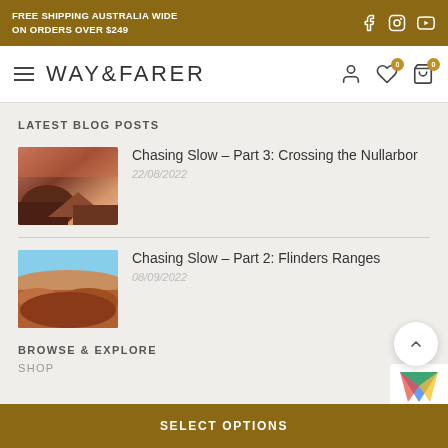FREE SHIPPING AUSTRALIA WIDE ON ORDERS OVER $249
WAY&FARER
LATEST BLOG POSTS
Chasing Slow – Part 3: Crossing the Nullarbor
22/08/2022
Chasing Slow – Part 2: Flinders Ranges
08/09/2022
BROWSE & EXPLORE
SHOP
SELECT OPTIONS